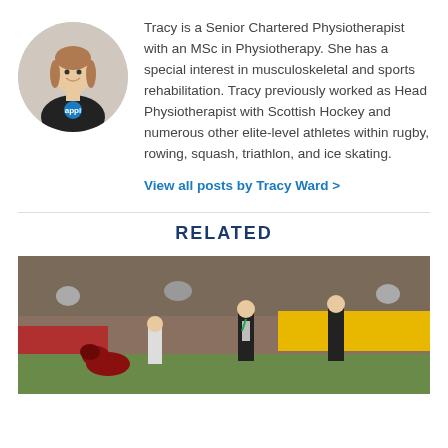[Figure (photo): Circular profile photo of Tracy Ward, a woman wearing a black t-shirt with a blue circular logo, smiling at the camera against a light background.]
Tracy is a Senior Chartered Physiotherapist with an MSc in Physiotherapy. She has a special interest in musculoskeletal and sports rehabilitation. Tracy previously worked as Head Physiotherapist with Scottish Hockey and numerous other elite-level athletes within rugby, rowing, squash, triathlon, and ice skating.
View all posts by Tracy Ward >
RELATED
[Figure (photo): Sports scene showing athletes on a field, one player in a red/maroon uniform, others in black uniforms, with a medical or coaching staff member wearing a green lanyard standing nearby. Yellow advertising boards visible in background.]